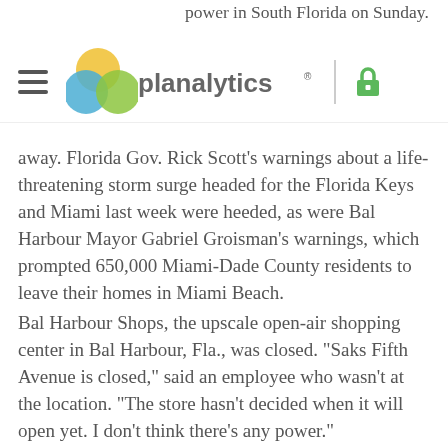power in South Florida on Sunday.
[Figure (logo): Planalytics logo with Venn diagram of overlapping yellow, green, and blue circles, text 'planalytics' in gray, vertical divider, and green padlock icon]
away. Florida Gov. Rick Scott’s warnings about a life-threatening storm surge headed for the Florida Keys and Miami last week were heeded, as were Bal Harbour Mayor Gabriel Groisman’s warnings, which prompted 650,000 Miami-Dade County residents to leave their homes in Miami Beach.
Bal Harbour Shops, the upscale open-air shopping center in Bal Harbour, Fla., was closed. “Saks Fifth Avenue is closed,” said an employee who wasn’t at the location. “The store hasn’t decided when it will open yet. I don’t think there’s any power.”